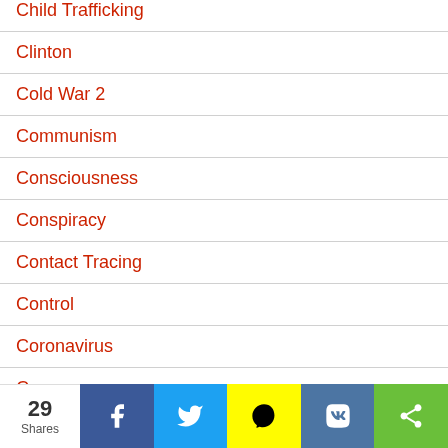Child Trafficking
Clinton
Cold War 2
Communism
Consciousness
Conspiracy
Contact Tracing
Control
Coronavirus
Cosmos
Crisis Actors
Crop Circles
29 Shares — Facebook, Twitter, Snapchat, VK, Share